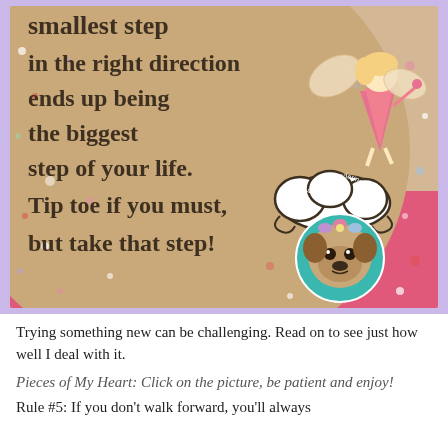[Figure (illustration): Motivational quote illustration with a beige/tan circular background, pink lower section, a cartoon fairy figure floating in upper right, a decorative cloud shape in the middle right, a teal circle with a pug wearing flower crown logo in the lower right, and colorful confetti dots scattered throughout. The quote text reads: 'smallest step in the right direction ends up being the biggest step of your life. Tip toe if you must, but take that step!' in a handwritten-style dark brown font.]
Trying something new can be challenging. Read on to see just how well I deal with it.
Pieces of My Heart: Click on the picture, be patient and enjoy!
Rule #5: If you don't walk forward, you'll always